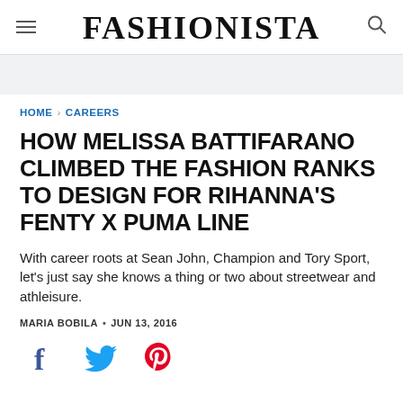FASHIONISTA
HOME > CAREERS
HOW MELISSA BATTIFARANO CLIMBED THE FASHION RANKS TO DESIGN FOR RIHANNA'S FENTY X PUMA LINE
With career roots at Sean John, Champion and Tory Sport, let's just say she knows a thing or two about streetwear and athleisure.
MARIA BOBILA • JUN 13, 2016
[Figure (infographic): Social sharing icons: Facebook (blue), Twitter (blue), Pinterest (red)]